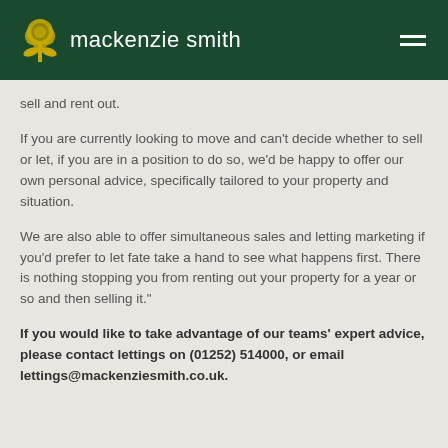mackenzie smith
sell and rent out.
If you are currently looking to move and can't decide whether to sell or let, if you are in a position to do so, we'd be happy to offer our own personal advice, specifically tailored to your property and situation.
We are also able to offer simultaneous sales and letting marketing if you'd prefer to let fate take a hand to see what happens first. There is nothing stopping you from renting out your property for a year or so and then selling it."
If you would like to take advantage of our teams' expert advice, please contact lettings on (01252) 514000, or email lettings@mackenziesmith.co.uk.